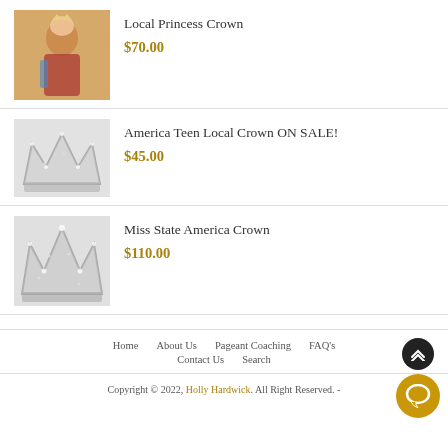[Figure (photo): Young girl wearing a tiara and red pageant sash with crown, warm yellow background]
Local Princess Crown
$70.00
[Figure (photo): Silver sparkly pageant crown on white background]
America Teen Local Crown ON SALE!
$45.00
[Figure (photo): Silver sparkly pageant crown on white background]
Miss State America Crown
$110.00
Home   About Us   Pageant Coaching   FAQ's   Contact Us   Search
Copyright © 2022, Holly Hardwick. All Right Reserved. -